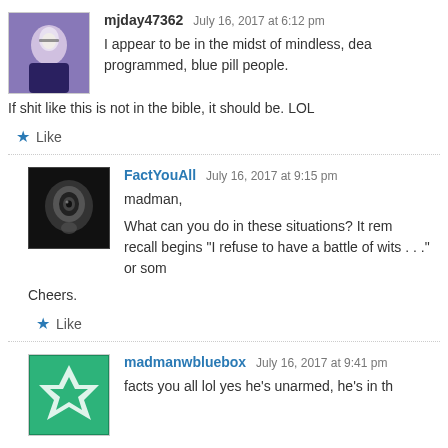[Figure (photo): Avatar photo of mjday47362, person with glasses against purple/blue background]
mjday47362 July 16, 2017 at 6:12 pm
I appear to be in the midst of mindless, dea programmed, blue pill people.
If shit like this is not in the bible, it should be. LOL
★ Like
[Figure (photo): Avatar photo of FactYouAll, black and white abstract/eye image on dark background]
FactYouAll July 16, 2017 at 9:15 pm
madman,

What can you do in these situations? It rem recall begins "I refuse to have a battle of wits . . ." or som

Cheers.
★ Like
[Figure (photo): Avatar icon of madmanwbluebox, green and white geometric/quilt pattern]
madmanwbluebox July 16, 2017 at 9:41 pm
facts you all lol yes he's unarmed, he's in th